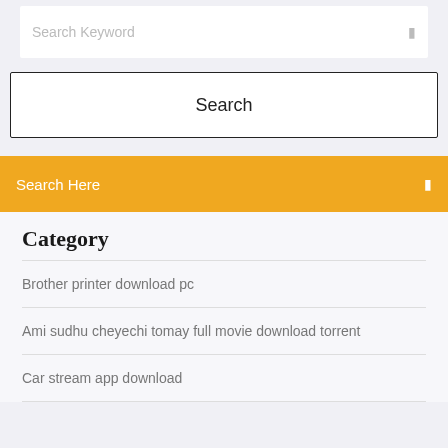[Figure (screenshot): Search keyword input box with placeholder text 'Search Keyword' and a small icon on the right]
[Figure (screenshot): Search button with border showing the text 'Search']
[Figure (screenshot): Yellow/orange banner bar with 'Search Here' text on the left and a small icon on the right]
Category
Brother printer download pc
Ami sudhu cheyechi tomay full movie download torrent
Car stream app download